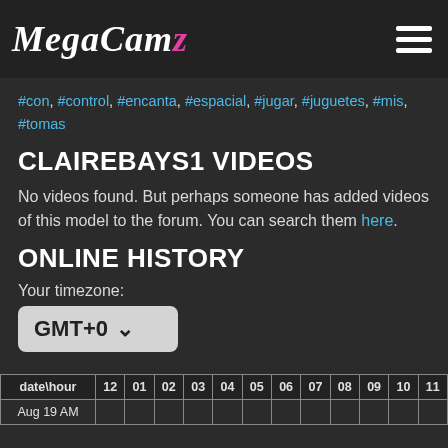MegaCamz
#con, #control, #encanta, #espacial, #jugar, #juguetes, #mis, #tomas
CLAIREBAYS1 VIDEOS
No videos found. But perhaps someone has added videos of this model to the forum. You can search them here.
ONLINE HISTORY
Your timezone:
GMT+0
| date\hour | 12 | 01 | 02 | 03 | 04 | 05 | 06 | 07 | 08 | 09 | 10 | 11 |
| --- | --- | --- | --- | --- | --- | --- | --- | --- | --- | --- | --- | --- |
| Aug 19 AM |  |  |  |  |  |  |  |  |  |  |  |  |